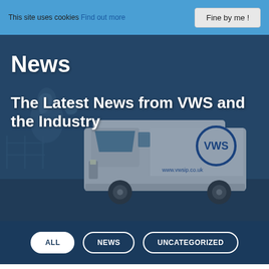This site uses cookies Find out more
Fine by me !
News
The Latest News from VWS and the Industry
[Figure (photo): A white VWS branded van parked in a yard with horse sculptures in background, blue-tinted overlay]
ALL
NEWS
UNCATEGORIZED